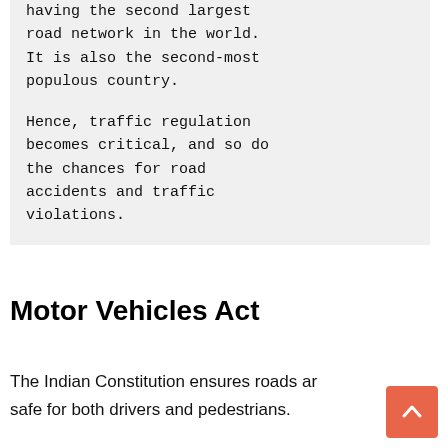having the second largest road network in the world. It is also the second-most populous country.

Hence, traffic regulation becomes critical, and so do the chances for road accidents and traffic violations.
Motor Vehicles Act
The Indian Constitution ensures roads are safe for both drivers and pedestrians.